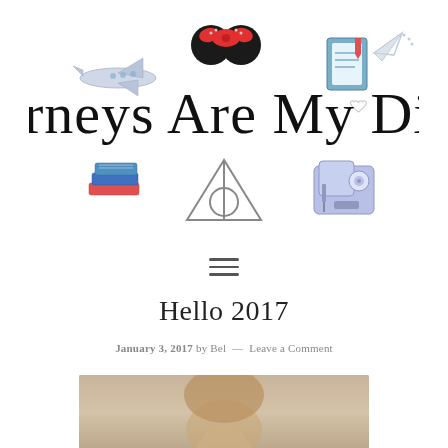[Figure (logo): Journeys Are My Diary blog logo with illustrated icons: airplane, Minnie Mouse ears, notebook, stack of books, Deathly Hallows symbol, sewing machine, paper airplane, heart]
[Figure (other): Hamburger menu icon (three horizontal lines)]
Hello 2017
January 3, 2017 by Bel — Leave a Comment
[Figure (photo): Partial photo of a person, cropped at bottom of page]